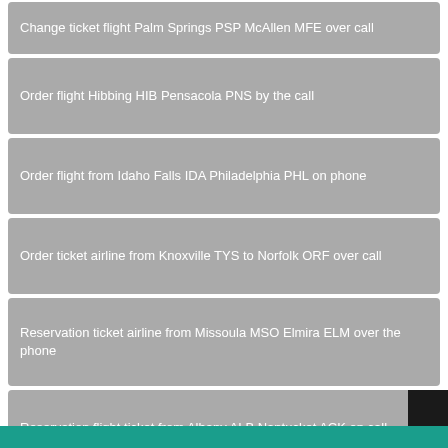Change ticket flight Palm Springs PSP McAllen MFE over call
Order flight Hibbing HIB Pensacola PNS by the call
Order flight from Idaho Falls IDA Philadelphia PHL on phone
Order ticket airline from Knoxville TYS to Norfolk ORF over call
Reservation ticket airline from Missoula MSO Elmira ELM over the phone
Reservation flight ticket from Albany ALB Nantucket ACK on call
Booking ticket airline Sidney SDY to Sanford SFB on the call